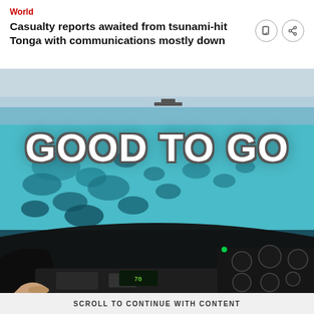World
Casualty reports awaited from tsunami-hit Tonga with communications mostly down
[Figure (photo): Aerial view from helicopter cockpit over turquoise coral reef water with 'GOOD TO GO' text overlaid in large white bold letters]
SCROLL TO CONTINUE WITH CONTENT